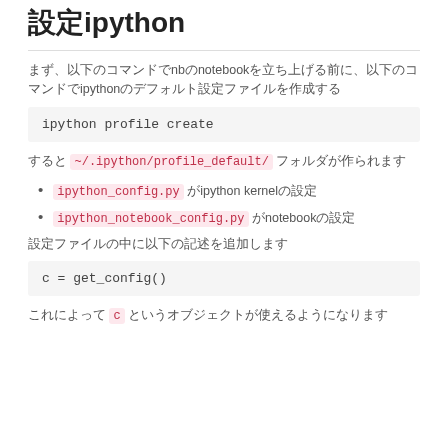設定ipython
まず、以下のコマンドでnbのnotebookを立ち上げる前に、以下のコマンドでipythonのデフォルト設定ファイルを作成する
ipython profile create
すると ~/.ipython/profile_default/ フォルダが作られます
ipython_config.py がipython kernelの設定
ipython_notebook_config.py がnotebookの設定
設定ファイルの中に以下の記述を追加します
c = get_config()
これによって c というオブジェクトが使えるようになります